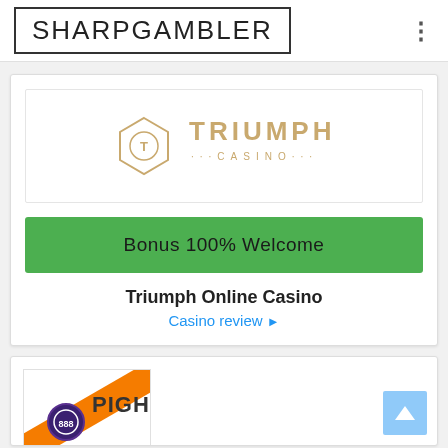SHARPGAMBLER
[Figure (logo): Triumph Casino logo with diamond/hexagon icon and gold text]
Bonus 100% Welcome
Triumph Online Casino
Casino review ▶
[Figure (logo): Partially visible logo with orange diagonal and casino chip icon at bottom of page]